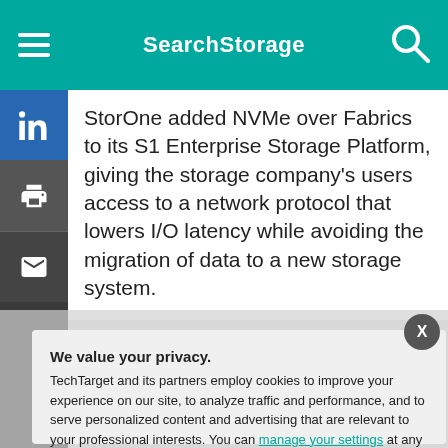SearchStorage
StorOne added NVMe over Fabrics to its S1 Enterprise Storage Platform, giving the storage company's users access to a network protocol that lowers I/O latency while avoiding the migration of data to a new storage system.
We value your privacy. TechTarget and its partners employ cookies to improve your experience on our site, to analyze traffic and performance, and to serve personalized content and advertising that are relevant to your professional interests. You can manage your settings at any time. Please view our Privacy Policy for more information